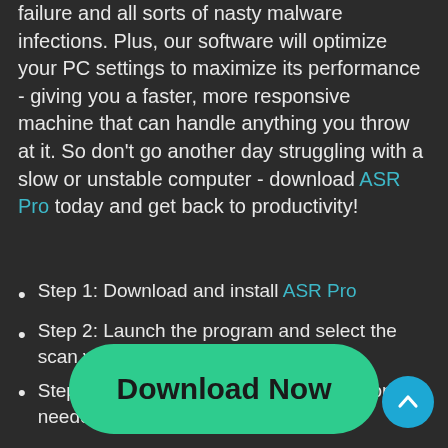failure and all sorts of nasty malware infections. Plus, our software will optimize your PC settings to maximize its performance - giving you a faster, more responsive machine that can handle anything you throw at it. So don't go another day struggling with a slow or unstable computer - download ASR Pro today and get back to productivity!
Step 1: Download and install ASR Pro
Step 2: Launch the program and select the scan you want to run
Step 3: Review the results and take action if needed
[Figure (other): Green rounded button with text 'Download Now' and a cyan circular scroll-to-top arrow button in the bottom right corner]